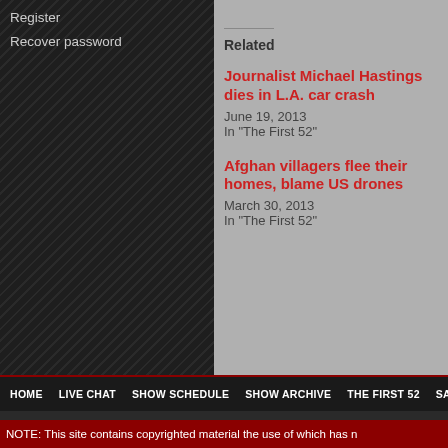Register
Recover password
Related
Journalist Michael Hastings dies in L.A. car crash
June 19, 2013
In "The First 52"
Afghan villagers flee their homes, blame US drones
March 30, 2013
In "The First 52"
HOME  LIVE CHAT  SHOW SCHEDULE  SHOW ARCHIVE  THE FIRST 52  SALT
MONKEY SNOUT RADIO  WEEK IN REVIEW  THE JOE SHOW  RAS AUDIO PLAYER
NOTE: This site contains copyrighted material the use of which has n...